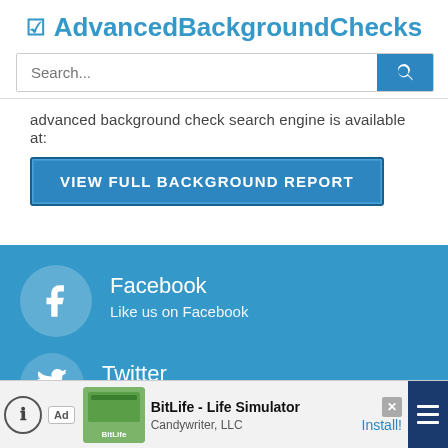☑ AdvancedBackgroundChecks
[Figure (screenshot): Search bar with placeholder text 'Search...' and blue search button]
advanced background check search engine is available at:
VIEW FULL BACKGROUND REPORT
Facebook
Like us on Facebook
Twitter
Follow us on Twitter @ABChecks
[Figure (infographic): Ad bar: BitLife - Life Simulator by Candywriter, LLC with Install button]